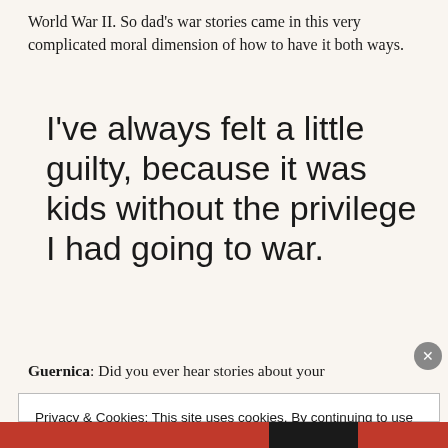World War II. So dad's war stories came in this very complicated moral dimension of how to have it both ways.
I've always felt a little guilty, because it was kids without the privilege I had going to war.
Guernica: Did you ever hear stories about your
Privacy & Cookies: This site uses cookies. By continuing to use this website, you agree to their use. To find out more, including how to control cookies, see here: Cookie Policy
Close and accept